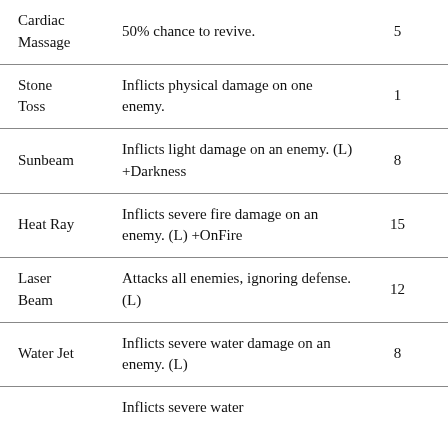| Cardiac Massage | 50% chance to revive. | 5 | 1 |
| Stone Toss | Inflicts physical damage on one enemy. | 1 | 1 |
| Sunbeam | Inflicts light damage on an enemy. (L) +Darkness | 8 | 1 |
| Heat Ray | Inflicts severe fire damage on an enemy. (L) +OnFire | 15 | 3 |
| Laser Beam | Attacks all enemies, ignoring defense. (L) | 12 | 6 |
| Water Jet | Inflicts severe water damage on an enemy. (L) | 8 | 8 |
|  | Inflicts severe water |  |  |